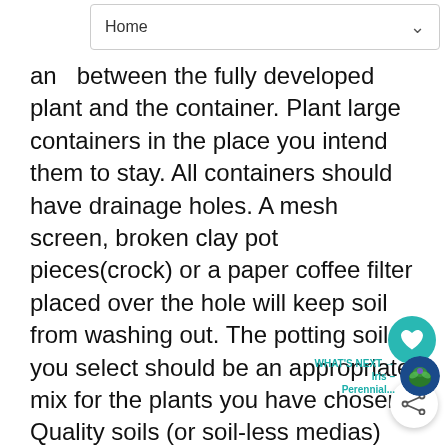Home
and between the fully developed plant and the container. Plant large containers in the place you intend them to stay. All containers should have drainage holes. A mesh screen, broken clay pot pieces(crock) or a paper coffee filter placed over the hole will keep soil from washing out. The potting soil you select should be an appropriate mix for the plants you have chosen. Quality soils (or soil-less medias) absorb moisture readily and evenly when we If water runs off soil upon initial wetting, this an indicator that your soil may not be as go as you think.
Prior to filling a container with soil, wet potting